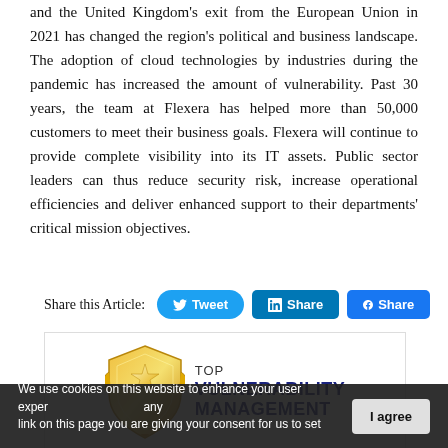and the United Kingdom's exit from the European Union in 2021 has changed the region's political and business landscape. The adoption of cloud technologies by industries during the pandemic has increased the amount of vulnerability. Past 30 years, the team at Flexera has helped more than 50,000 customers to meet their business goals. Flexera will continue to provide complete visibility into its IT assets. Public sector leaders can thus reduce security risk, increase operational efficiencies and deliver enhanced support to their departments' critical mission objectives.
Share this Article: Tweet | Share | Share
[Figure (illustration): Award badge: golden shield trophy with text 'TOP VULNERABILITY MANAGEMENT']
We use cookies on this website to enhance your user experience. By clicking any link on this page you are giving your consent for us to set cookies.